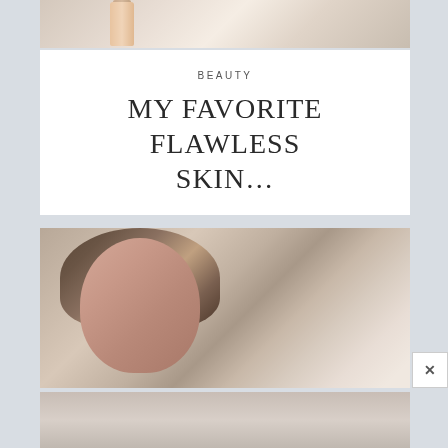[Figure (photo): Top portion of a beauty/cosmetics flatlay showing cosmetic tubes and products on a light background]
BEAUTY
MY FAVORITE FLAWLESS SKIN…
[Figure (photo): Portrait photo of a young woman with brown highlighted hair, wearing makeup with defined brows and lashes, touching her hair, looking sideways]
[Figure (photo): Lower portion of portrait photo continuing below, showing woman's hands and sweater]